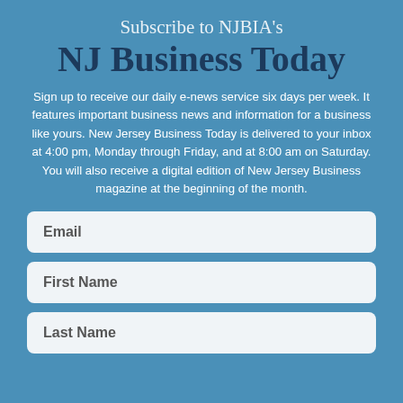Subscribe to NJBIA's
NJ Business Today
Sign up to receive our daily e-news service six days per week. It features important business news and information for a business like yours. New Jersey Business Today is delivered to your inbox at 4:00 pm, Monday through Friday, and at 8:00 am on Saturday. You will also receive a digital edition of New Jersey Business magazine at the beginning of the month.
Email
First Name
Last Name